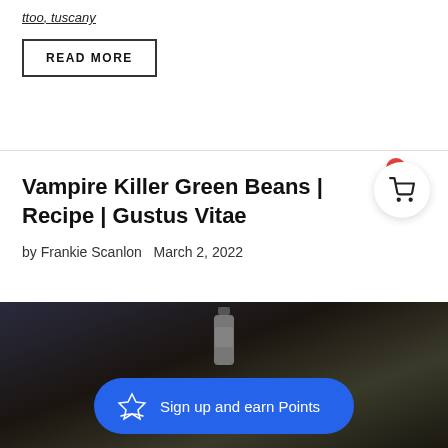ttoo, tuscany
READ MORE
Vampire Killer Green Beans | Recipe | Gustus Vitae
by Frankie Scanlon   March 2, 2022
[Figure (photo): Dark photo of a bottle on a table, with a blue 'Sign up and earn Points' button overlay]
Sign up and earn Points